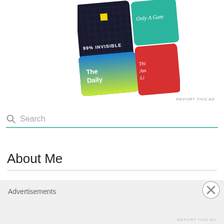[Figure (screenshot): Podcast app advertisement showing multiple podcast cover art tiles: 99% Invisible (black with grid), Only A Game (teal with script text), The Daily (blue gradient), and This American Life (red, partially visible)]
REPORT THIS AD
[Figure (screenshot): Search bar with magnifying glass icon and placeholder text 'Search', with teal underline border]
About Me
[Figure (photo): Partial profile photo showing top of dark-haired person's head]
Advertisements
REPORT THIS AD